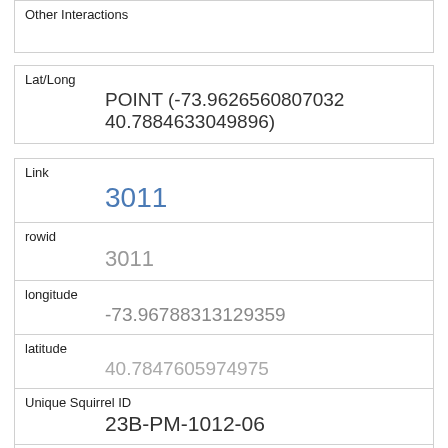| Other Interactions |  |
| Lat/Long | POINT (-73.9626560807032 40.7884633049896) |
| Link | 3011 |
| rowid | 3011 |
| longitude | -73.96788313129359 |
| latitude | 40.7847605974975 |
| Unique Squirrel ID | 23B-PM-1012-06 |
| Hectare | 23B |
| Shift | PM |
| Date | 10122018 |